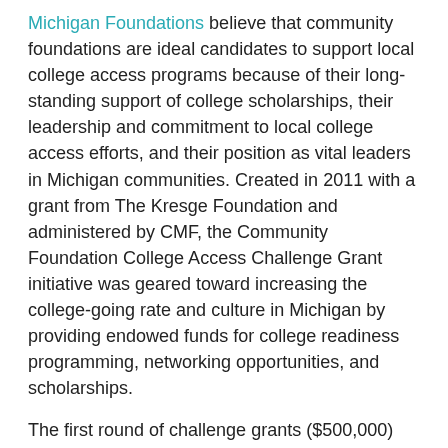Michigan Foundations believe that community foundations are ideal candidates to support local college access programs because of their long-standing support of college scholarships, their leadership and commitment to local college access efforts, and their position as vital leaders in Michigan communities. Created in 2011 with a grant from The Kresge Foundation and administered by CMF, the Community Foundation College Access Challenge Grant initiative was geared toward increasing the college-going rate and culture in Michigan by providing endowed funds for college readiness programming, networking opportunities, and scholarships.
The first round of challenge grants ($500,000) supported 13 Michigan community foundations, leveraged $890,060 in local funding, and helped to establish almost $500,000 in permanently endowed funds at Michigan community foundations. These funds will provide support for local college access activities and programs in perpetuity.
The Kresge Foundation granted $1.2 million in